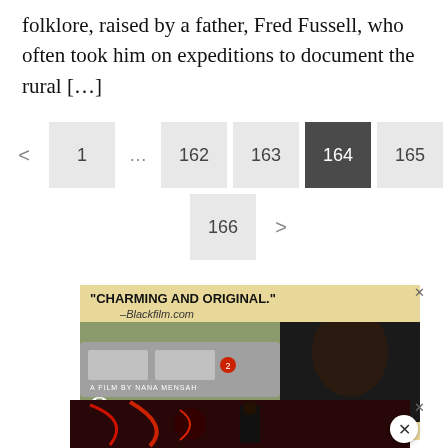folklore, raised by a father, Fred Fussell, who often took him on expeditions to document the rural […]
[Figure (screenshot): Pagination navigation showing pages: left arrow, 1, ..., 162, 163, 164 (active/highlighted), 165, 166, right arrow]
[Figure (photo): Advertisement for film 'Queen of ...' by Nana Mensah. Quote: 'CHARMING AND ORIGINAL.' from Blackfilm.com. Shows subway train and woman with natural hair.]
[Figure (photo): Second advertisement banner with dark red and black graphic design at the bottom of the page.]